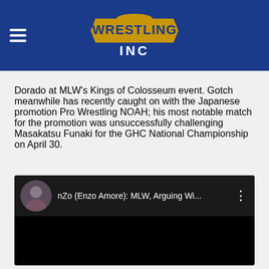Wrestling Inc
Dorado at MLW's Kings of Colosseum event. Gotch meanwhile has recently caught on with the Japanese promotion Pro Wrestling NOAH; his most notable match for the promotion was unsuccessfully challenging Masakatsu Funaki for the GHC National Championship on April 30.
[Figure (screenshot): Embedded YouTube video thumbnail showing nZo (Enzo Amore): MLW, Arguing Wi... with a circular avatar of a person and a three-dot menu icon]